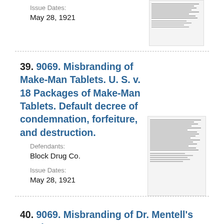Issue Dates:
May 28, 1921
[Figure (other): Thumbnail image of a legal document page with dense text lines]
39. 9069. Misbranding of Make-Man Tablets. U. S. v. 18 Packages of Make-Man Tablets. Default decree of condemnation, forfeiture, and destruction.
Defendants:
Block Drug Co.
Issue Dates:
May 28, 1921
[Figure (other): Thumbnail image of a legal document page with dense text lines]
40. 9069. Misbranding of Dr. Mentell's Emul...